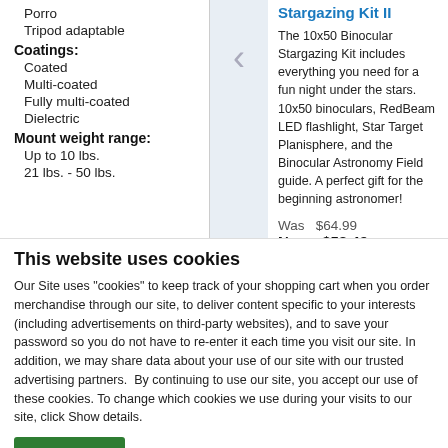Porro
Tripod adaptable
Coatings:
Coated
Multi-coated
Fully multi-coated
Dielectric
Mount weight range:
Up to 10 lbs.
21 lbs. - 50 lbs.
Stargazing Kit II
The 10x50 Binocular Stargazing Kit includes everything you need for a fun night under the stars. 10x50 binoculars, RedBeam LED flashlight, Star Target Planisphere, and the Binocular Astronomy Field guide. A perfect gift for the beginning astronomer!
Was  $64.99
Now  $58.49
You Save:  $6.50
This website uses cookies
Our Site uses "cookies" to keep track of your shopping cart when you order merchandise through our site, to deliver content specific to your interests (including advertisements on third-party websites), and to save your password so you do not have to re-enter it each time you visit our site. In addition, we may share data about your use of our site with our trusted advertising partners.  By continuing to use our site, you accept our use of these cookies. To change which cookies we use during your visits to our site, click Show details.
OK
Show details